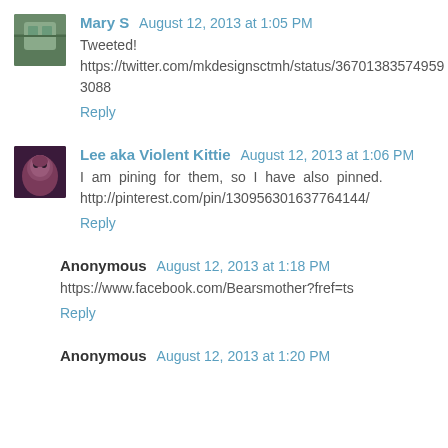Mary S  August 12, 2013 at 1:05 PM
Tweeted! https://twitter.com/mkdesignsctmh/status/367013835749593088
Reply
Lee aka Violent Kittie  August 12, 2013 at 1:06 PM
I am pining for them, so I have also pinned. http://pinterest.com/pin/130956301637764144/
Reply
Anonymous  August 12, 2013 at 1:18 PM
https://www.facebook.com/Bearsmother?fref=ts
Reply
Anonymous  August 12, 2013 at 1:20 PM